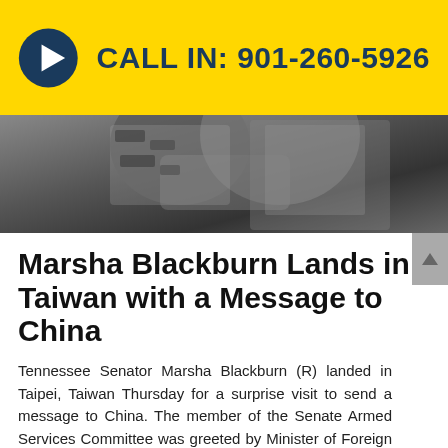CALL IN: 901-260-5926
[Figure (photo): Two people shaking hands, grayscale photo, close-up of handshake with one person wearing a patterned black and white top and the other in a gray suit.]
Marsha Blackburn Lands in Taiwan with a Message to China
Tennessee Senator Marsha Blackburn (R) landed in Taipei, Taiwan Thursday for a surprise visit to send a message to China. The member of the Senate Armed Services Committee was greeted by Minister of Foreign Affairs Director-General for North American Affairs...
Read More